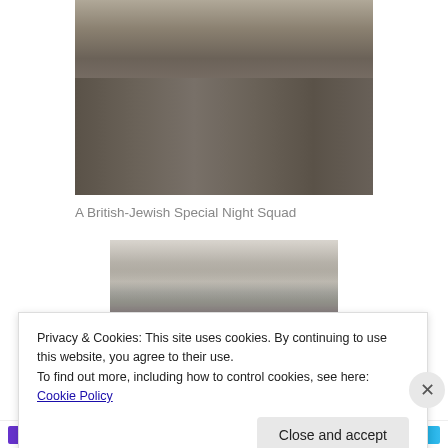[Figure (photo): Black and white photograph of a group of soldiers/fighters standing together, partially cropped at top showing lower bodies and stacked rifles]
A British-Jewish Special Night Squad
[Figure (photo): Black and white photograph of armed fighters/soldiers in a field, some lying prone with weapons, one standing in background]
Privacy & Cookies: This site uses cookies. By continuing to use this website, you agree to their use.
To find out more, including how to control cookies, see here: Cookie Policy
Close and accept